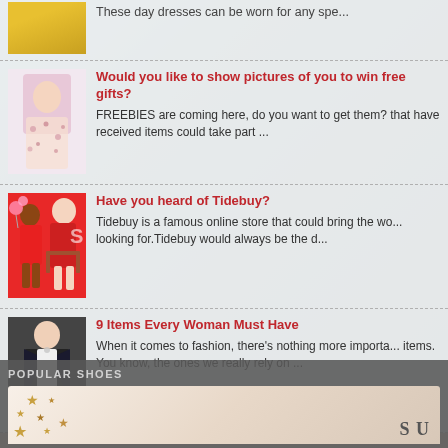These day dresses can be worn for any spe...
Would you like to show pictures of you to win free gifts?
FREEBIES are coming here, do you want to get them? that have received items could take part ...
Have you heard of Tidebuy?
Tidebuy is a famous online store that could bring the wo... looking for.Tidebuy would always be the d...
9 Items Every Woman Must Have
When it comes to fashion, there's nothing more importa... items. You know, the ones we really rely on ...
POPULAR SHOES